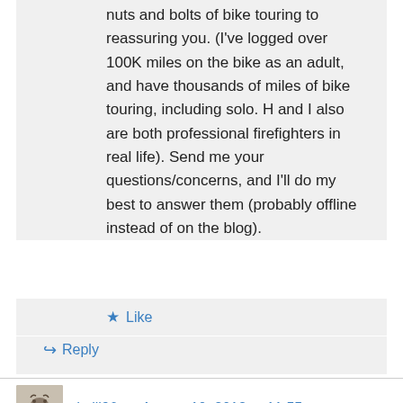nuts and bolts of bike touring to reassuring you. (I've logged over 100K miles on the bike as an adult, and have thousands of miles of bike touring, including solo. H and I also are both professional firefighters in real life). Send me your questions/concerns, and I'll do my best to answer them (probably offline instead of on the blog).
★ Like
↳ Reply
dmill96 on August 10, 2012 at 11:55 pm
Fabulous ride, thanks for taking me along. I've